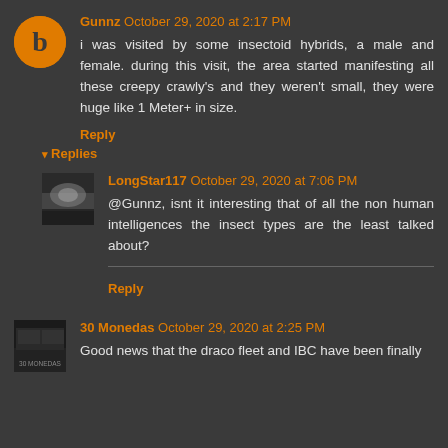Gunnz October 29, 2020 at 2:17 PM
i was visited by some insectoid hybrids, a male and female. during this visit, the area started manifesting all these creepy crawly's and they weren't small, they were huge like 1 Meter+ in size.
Reply
Replies
LongStar117 October 29, 2020 at 7:06 PM
@Gunnz, isnt it interesting that of all the non human intelligences the insect types are the least talked about?
Reply
30 Monedas October 29, 2020 at 2:25 PM
Good news that the draco fleet and IBC have been finally